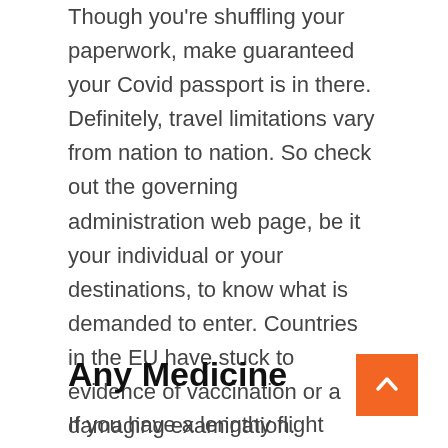Though you're shuffling your paperwork, make guaranteed your Covid passport is in there. Definitely, travel limitations vary from nation to nation. So check out the governing administration web page, be it your individual or your destinations, to know what is demanded to enter. Countries in the EU have stuck to evidence of vaccination or a damaging examination. However, other individuals, like New Zealand, want both equally. Additionally, they want a timeline of where you have been more than the earlier two weeks. Alongside one another with get hold of specifics for you though you are in New Zealand, and who to call in an crisis. They are not messing about.
Any Medicine
If you have a lengthy flight forward of you, make positive you have sufficient medicine with you. Even if